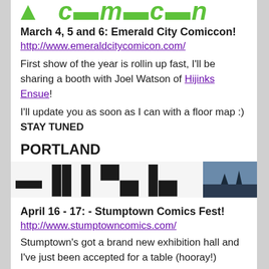[Figure (logo): Green stylized comic convention logo text, partial view at top of page]
March 4, 5 and 6: Emerald City Comiccon!
http://www.emeraldcitycomicon.com/
First show of the year is rollin up fast, I'll be sharing a booth with Joel Watson of Hijinks Ensue!
I'll update you as soon as I can with a floor map :) STAY TUNED
PORTLAND
[Figure (photo): Partial view of Portland comics fest banner/logo with dark silhouette text and a blue sky photo on the right side]
April 16 - 17: - Stumptown Comics Fest!
http://www.stumptowncomics.com/
Stumptown's got a brand new exhibition hall and I've just been accepted for a table (hooray!)